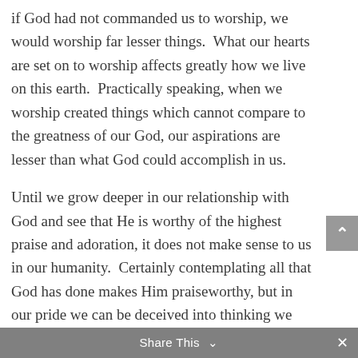if God had not commanded us to worship, we would worship far lesser things. What our hearts are set on to worship affects greatly how we live on this earth. Practically speaking, when we worship created things which cannot compare to the greatness of our God, our aspirations are lesser than what God could accomplish in us.
Until we grow deeper in our relationship with God and see that He is worthy of the highest praise and adoration, it does not make sense to us in our humanity. Certainly contemplating all that God has done makes Him praiseworthy, but in our pride we can be deceived into thinking we deserve what God has done for us.
Share This ∨  ×